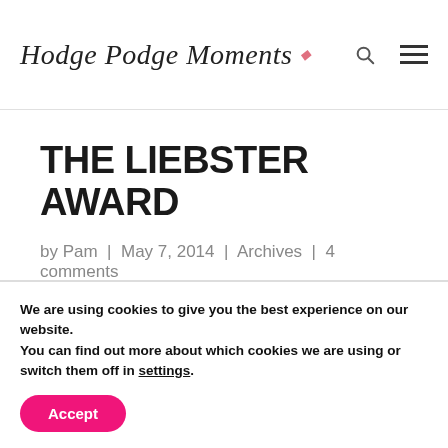Hodge Podge Moments
THE LIEBSTER AWARD
by Pam | May 7, 2014 | Archives | 4 comments
[Figure (illustration): Teal/dark green stylized sun badge — top half of a circular award badge with spiky rays along the top arc, teal colored.]
We are using cookies to give you the best experience on our website.
You can find out more about which cookies we are using or switch them off in settings.
Accept